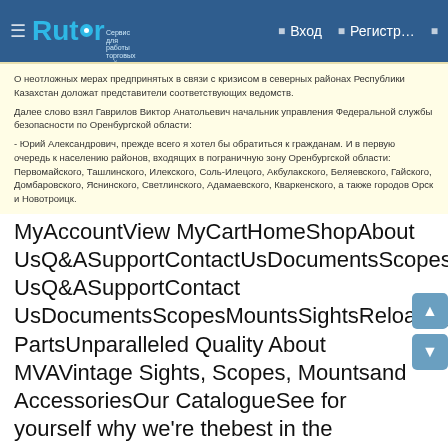Rutor | Вход | Регистр...
О неотложных мерах предпринятых в связи с кризисом в северных районах Республики Казахстан доложат представители соответствующих ведомств.

Далее слово взял Гаврилов Виктор Анатольевич начальник управления Федеральной службы безопасности по Оренбургской области:

- Юрий Александрович, прежде всего я хотел бы обратиться к гражданам. И в первую очередь к населению районов, входящих в пограничную зону Оренбургской области: Первомайского, Ташлинского, Илекского, Соль-Илецого, Акбулакского, Беляевского, Гайского, Домбаровского, Яснинского, Светлинского, Адамаевского, Кваркенского, а также городов Орск и Новотроицк.
MyAccountView MyCartHomeShopAbout UsQ&ASupportContactUsDocumentsScopesMountsSightsReloadingAccessoriesActionPartsNavigationHomeShopAbout UsQ&ASupportContact UsDocumentsScopesMountsSightsReloadingAccessoriesAction PartsUnparalleled Quality About MVAVintage Sights, Scopes, Mountsand AccessoriesOur CatalogueSee for yourself why we're thebest in the businessTrophy RoomAmazing experiences using MVAproductsNEW PRODUCTSSelectoptionsHadleyEyediscs$74.00 – $113.00Select optionsMVA Combination Front Sight$89.00SelectoptionsInsert/ApertureCards$21.00Out ofstockReadmoreSightInsert Caddy$12.00SelectoptionsBlowTubesRated 5.00 out of 5$19.00Select options#113 SpiritLevel New Win...